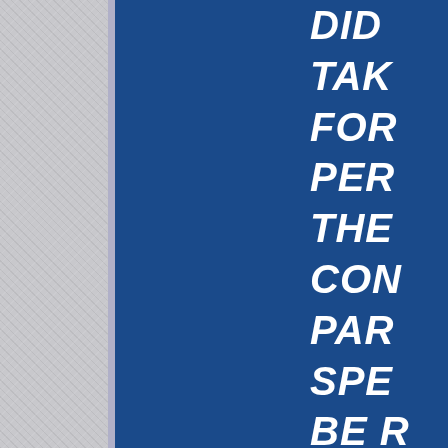[Figure (illustration): Page with textured grey left panel and dark blue right panel background, with large bold italic white text cropped at right edge]
DID TAKE FOR PER THE CON PAR SPE BE R BITE FOR EUROPE DOE HAV MOR DUT WEL OR A EVE